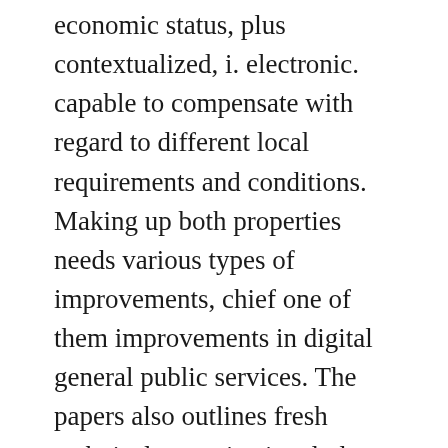economic status, plus contextualized, i. electronic. capable to compensate with regard to different local requirements and conditions. Making up both properties needs various types of improvements, chief one of them improvements in digital general public services. The papers also outlines fresh technical, organizational plus policy-related government abilities required to participate in digital public support innovations.